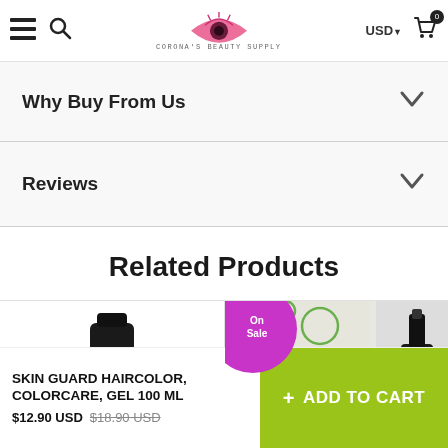Corona's Beauty Supply — USD — Cart
Why Buy From Us
Reviews
Related Products
[Figure (photo): Product photo of NUTRAT Btx hair treatment bottle (black bottle)]
[Figure (photo): Product photo of FOSE Professional Hair Science product with On Sale badge (magenta circle), showing box with green circles and a black dropper bottle]
SKIN GUARD HAIRCOLOR, COLORCARE, GEL 100 ml
$12.90 USD $18.90 USD
+ ADD TO CART